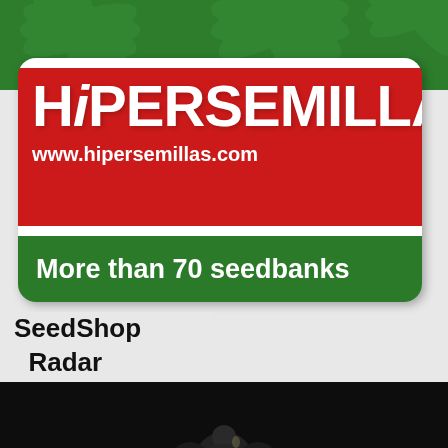[Figure (illustration): Green cannabis leaf background at top of image]
[Figure (logo): Hipersemillas logo card with red background showing brand name HIPERSEMILLAS and website www.hipersemillas.com, green bottom section with text More than 70 seedbanks]
SeedShop
  Radar
[Figure (photo): Dark/black background at bottom with partial figure or plant silhouette visible]